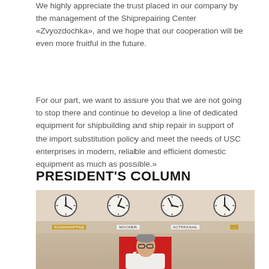We highly appreciate the trust placed in our company by the management of the Shiprepairing Center «Zvyozdochka», and we hope that our cooperation will be even more fruitful in the future.
For our part, we want to assure you that we are not going to stop there and continue to develop a line of dedicated equipment for shipbuilding and ship repair in support of the import substitution policy and meet the needs of USC enterprises in modern, reliable and efficient domestic equipment as much as possible.»
PRESIDENT'S COLUMN
[Figure (photo): Photo of a man wearing glasses seated in front of a red banner with a white double-arrow logo, with multiple wall clocks showing different city times (including Kaliningrad, Moscow, Astrakhan) visible in the background above him.]